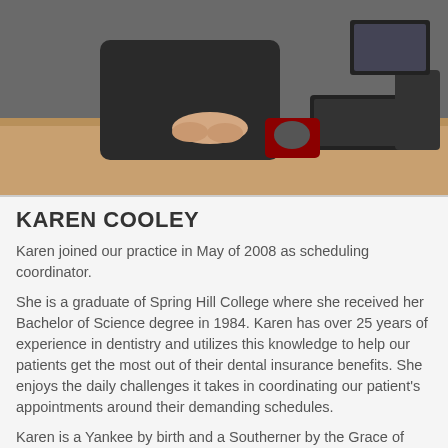[Figure (photo): Photo of Karen Cooley seated at a desk with hands folded, keyboard and phone visible in background]
KAREN COOLEY
Karen joined our practice in May of 2008 as scheduling coordinator.
She is a graduate of Spring Hill College where she received her Bachelor of Science degree in 1984. Karen has over 25 years of experience in dentistry and utilizes this knowledge to help our patients get the most out of their dental insurance benefits. She enjoys the daily challenges it takes in coordinating our patient's appointments around their demanding schedules.
Karen is a Yankee by birth and a Southerner by the Grace of God when her parents relocated to Ocean Springs, MS in the early 70's. Karen is the wife of the late Clifford Cooley with whom she shares one child Michael. Outside of work she enjoys attending Church on the Rock, the